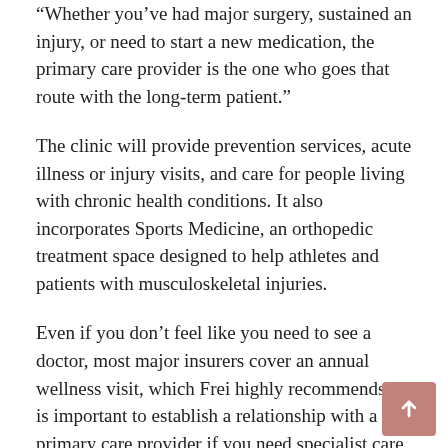“Whether you’ve had major surgery, sustained an injury, or need to start a new medication, the primary care provider is the one who goes that route with the long-term patient.”
The clinic will provide prevention services, acute illness or injury visits, and care for people living with chronic health conditions. It also incorporates Sports Medicine, an orthopedic treatment space designed to help athletes and patients with musculoskeletal injuries.
Even if you don’t feel like you need to see a doctor, most major insurers cover an annual wellness visit, which Frei highly recommends. It is important to establish a relationship with a primary care provider if you need specialist care in the future, and to discuss tools to optimize your health, from screenings to vaccinations.
Frei, originally from St. George, attended Southern Utah University and received a Doctor of Osteopathic Medicine degree from Midwestern University in Glendale, Arizona. He